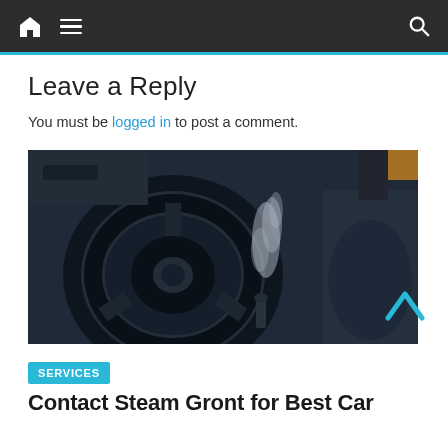Navigation bar with home, menu, and search icons
Leave a Reply
You must be logged in to post a comment.
[Figure (photo): Car interior steam cleaning — black steering wheel with steam/vapor rising from a cleaning tool, dark car seats visible]
SERVICES
Contact Steam Gront for Best Car